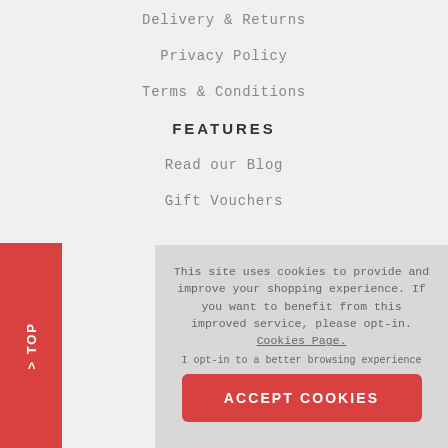Delivery & Returns
Privacy Policy
Terms & Conditions
FEATURES
Read our Blog
Gift Vouchers
This site uses cookies to provide and improve your shopping experience. If you want to benefit from this improved service, please opt-in. Cookies Page.
I opt-in to a better browsing experience
ACCEPT COOKIES
© 2022 80s
[Figure (logo): Mastercard logo with two overlapping circles (red and orange)]
TOP